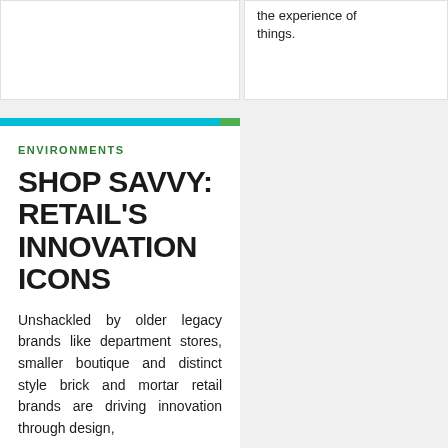the experience of things.
ENVIRONMENTS
SHOP SAVVY: RETAIL'S INNOVATION ICONS
Unshackled by older legacy brands like department stores, smaller boutique and distinct style brick and mortar retail brands are driving innovation through design,